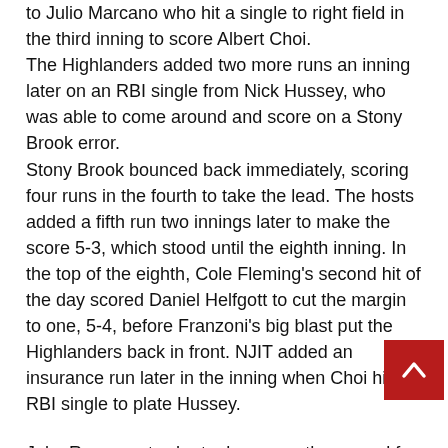to Julio Marcano who hit a single to right field in the third inning to score Albert Choi.
The Highlanders added two more runs an inning later on an RBI single from Nick Hussey, who was able to come around and score on a Stony Brook error.
Stony Brook bounced back immediately, scoring four runs in the fourth to take the lead. The hosts added a fifth run two innings later to make the score 5-3, which stood until the eighth inning. In the top of the eighth, Cole Fleming's second hit of the day scored Daniel Helfgott to cut the margin to one, 5-4, before Franzoni's big blast put the Highlanders back in front. NJIT added an insurance run later in the inning when Choi hit an RBI single to plate Hussey.
Jake Rappaport, who took over on the mound for NJIT in the sixth inning, handled it from there as the senior left-hander kept the Seawolves off the scoreboard to preserve the victory. Rappaport tossed four innings and gave up just one run to improve to 6-1 this season with seven saves.
Choi, Helfgott, and Fleming each had two hits to pace the NJIT offense.
On Deck